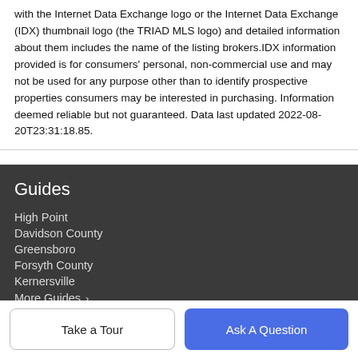with the Internet Data Exchange logo or the Internet Data Exchange (IDX) thumbnail logo (the TRIAD MLS logo) and detailed information about them includes the name of the listing brokers.IDX information provided is for consumers' personal, non-commercial use and may not be used for any purpose other than to identify prospective properties consumers may be interested in purchasing. Information deemed reliable but not guaranteed. Data last updated 2022-08-20T23:31:18.85.
Guides
High Point
Davidson County
Greensboro
Forsyth County
Kernersville
More Guides ›